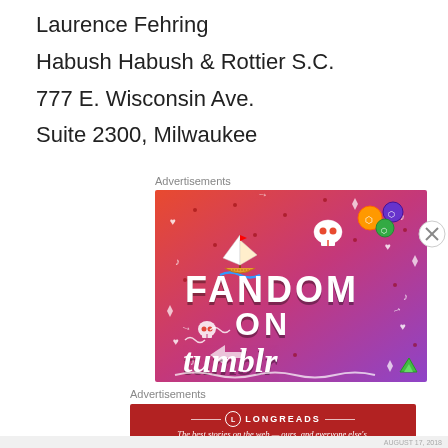Laurence Fehring
Habush Habush & Rottier S.C.
777 E. Wisconsin Ave.
Suite 2300, Milwaukee
Advertisements
[Figure (illustration): Fandom on Tumblr advertisement banner with colorful gradient background (pink/orange/purple), featuring a sailboat sticker, skull, dice, and large text reading 'FANDOM ON tumblr']
Advertisements
[Figure (logo): Longreads advertisement: dark red banner with Longreads logo circle and tagline 'The best stories on the web — ours, and everyone else's.']